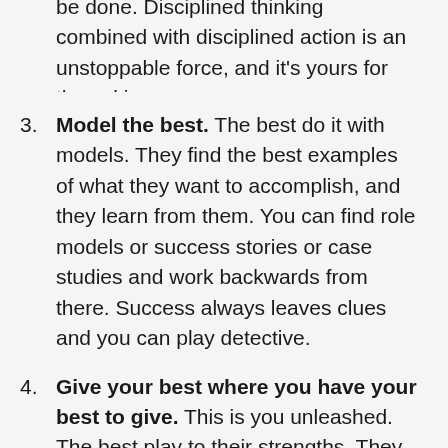be done. Disciplined thinking combined with disciplined action is an unstoppable force, and it's yours for the asking.
3. Model the best. The best do it with models. They find the best examples of what they want to accomplish, and they learn from them. You can find role models or success stories or case studies and work backwards from there. Success always leaves clues and you can play detective.
4. Give your best where you have your best to give. This is you unleashed. The best play to their strengths. They spend more time doing the things that make them strong, and less time doing the things that make them weak. This builds energy and momentum and instead of getting drained, you get charged and you grow.